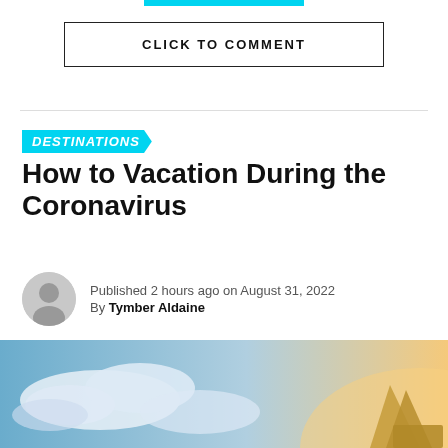[Figure (other): Cyan horizontal bar at top center]
CLICK TO COMMENT
DESTINATIONS
How to Vacation During the Coronavirus
Published 2 hours ago on August 31, 2022
By Tymber Aldaine
[Figure (photo): Sky with clouds and airplane tail fin, warm sunset light]